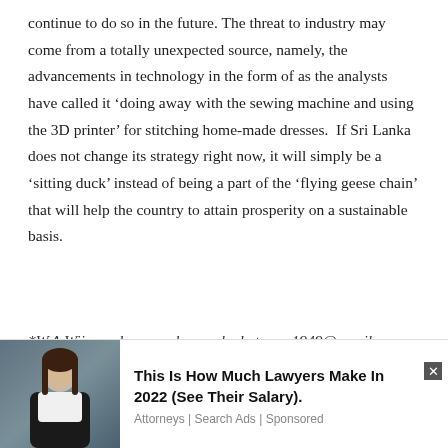continue to do so in the future. The threat to industry may come from a totally unexpected source, namely, the advancements in technology in the form of as the analysts have called it ‘doing away with the sewing machine and using the 3D printer’ for stitching home-made dresses.  If Sri Lanka does not change its strategy right now, it will simply be a ‘sitting duck’ instead of being a part of the ‘flying geese chain’ that will help the country to attain prosperity on a sustainable basis.
*W.A Wijewardena can be reached at waw1949@gmail.com
[Figure (infographic): Advertisement banner with a photo of a woman in professional attire on the left and text on the right reading 'This Is How Much Lawyers Make In 2022 (See Their Salary).' with source 'Attorneys | Search Ads | Sponsored' and a close button.]